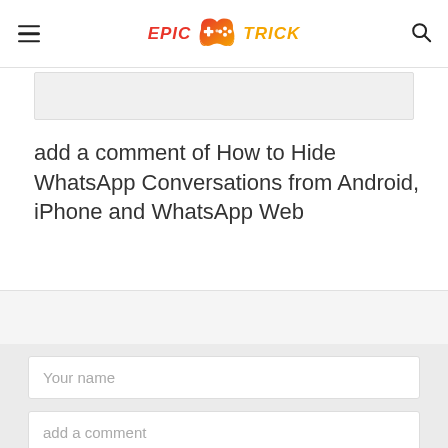EPIC TRICK (logo with gamepad icon)
[Figure (other): Grey placeholder box below header]
add a comment of How to Hide WhatsApp Conversations from Android, iPhone and WhatsApp Web
Your name
add a comment